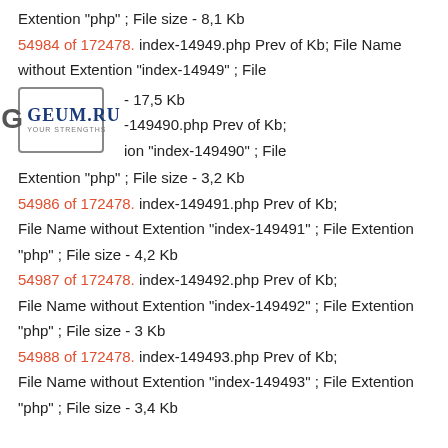Extention "php" ; File size - 8,1 Kb
54984 of 172478. index-14949.php Prev of Kb; File Name without Extention "index-14949" ; File - 17,5 Kb
[Figure (logo): GEUM.RU logo with G icon and tagline YOUR STRENGTHS]
-149490.php Prev of Kb; ion "index-149490" ; File Extention "php" ; File size - 3,2 Kb
54986 of 172478. index-149491.php Prev of Kb; File Name without Extention "index-149491" ; File Extention "php" ; File size - 4,2 Kb
54987 of 172478. index-149492.php Prev of Kb; File Name without Extention "index-149492" ; File Extention "php" ; File size - 3 Kb
54988 of 172478. index-149493.php Prev of Kb; File Name without Extention "index-149493" ; File Extention "php" ; File size - 3,4 Kb